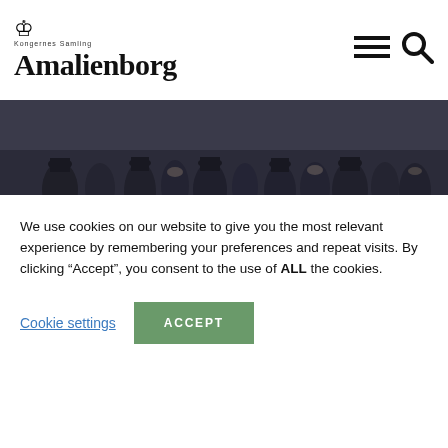Amalienborg
[Figure (photo): Historical painting/illustration showing a crowd scene with figures in 19th century attire, dark atmospheric tones]
1850-1875
The social and political revolts in Europe in 1848 had ushered in new times uropean states, and for Denmark too. But even though the absolute archy was abolished with the Constitution of 1849, the monarchy was
We use cookies on our website to give you the most relevant experience by remembering your preferences and repeat visits. By clicking “Accept”, you consent to the use of ALL the cookies.
Cookie settings
ACCEPT